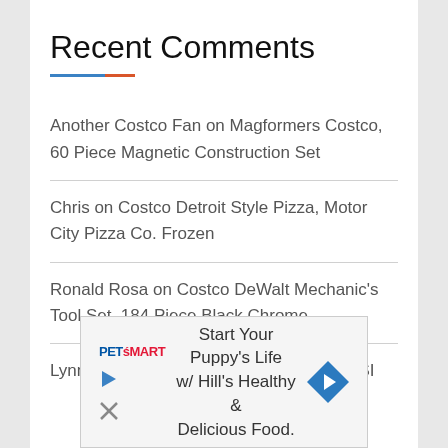Recent Comments
Another Costco Fan on Magformers Costco, 60 Piece Magnetic Construction Set
Chris on Costco Detroit Style Pizza, Motor City Pizza Co. Frozen
Ronald Rosa on Costco DeWalt Mechanic's Tool Set, 184 Piece Black Chrome
Lynn Dunn on Costco Husqvarna 3100 PSI
[Figure (other): PetSmart advertisement: Start Your Puppy's Life w/ Hill's Healthy & Delicious Food.]